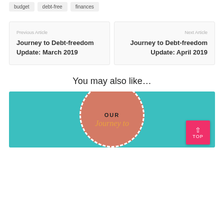budget
debt-free
finances
Previous Article
Journey to Debt-freedom Update: March 2019
Next Article
Journey to Debt-freedom Update: April 2019
You may also like…
[Figure (photo): Circular badge on teal background with text 'OUR Journey to' in script font, resembling a blog post thumbnail about a debt-freedom journey]